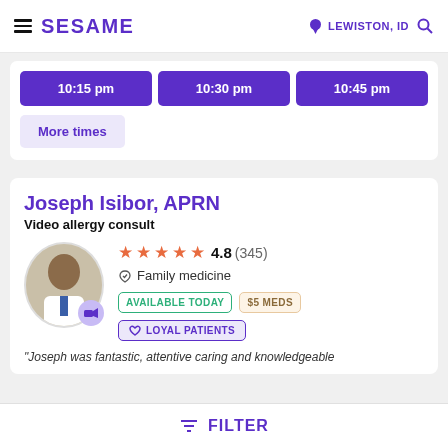SESAME — LEWISTON, ID
10:15 pm  10:30 pm  10:45 pm
More times
Joseph Isibor, APRN
Video allergy consult
4.8 (345)
Family medicine
AVAILABLE TODAY
$5 MEDS
LOYAL PATIENTS
"Joseph was fantastic, attentive caring and knowledgeable
FILTER